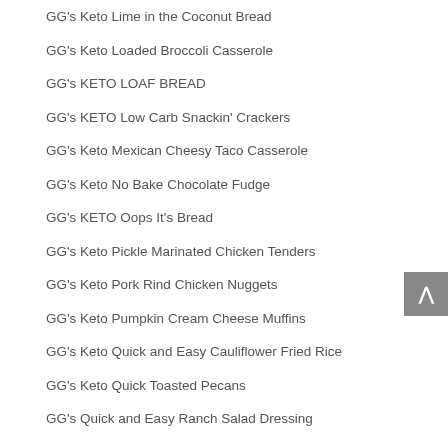GG's Keto Lime in the Coconut Bread
GG's Keto Loaded Broccoli Casserole
GG's KETO LOAF BREAD
GG's KETO Low Carb Snackin' Crackers
GG's Keto Mexican Cheesy Taco Casserole
GG's Keto No Bake Chocolate Fudge
GG's KETO Oops It's Bread
GG's Keto Pickle Marinated Chicken Tenders
GG's Keto Pork Rind Chicken Nuggets
GG's Keto Pumpkin Cream Cheese Muffins
GG's Keto Quick and Easy Cauliflower Fried Rice
GG's Keto Quick Toasted Pecans
GG's Quick and Easy Ranch Salad Dressing
GG's Keto Quick Fat Shake
GG's KETO Salmon or Tuna Melts